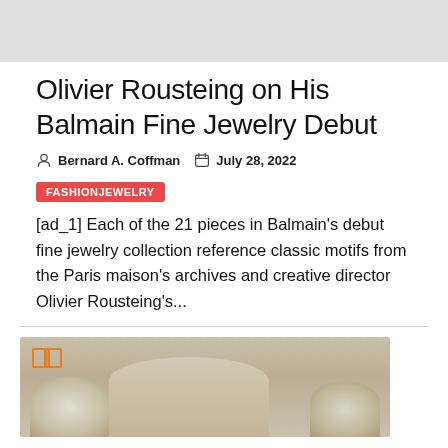[Figure (photo): Gray placeholder image at top of page]
Olivier Rousteing on His Balmain Fine Jewelry Debut
Bernard A. Coffman   July 28, 2022
FASHIONJEWELRY
[ad_1] Each of the 21 pieces in Balmain’s debut fine jewelry collection reference classic motifs from the Paris maison’s archives and creative director Olivier Rousteing’s...
[Figure (photo): Photo of a person with flowers/floral arrangement, curtain background, with an orange book icon overlay in top-left]